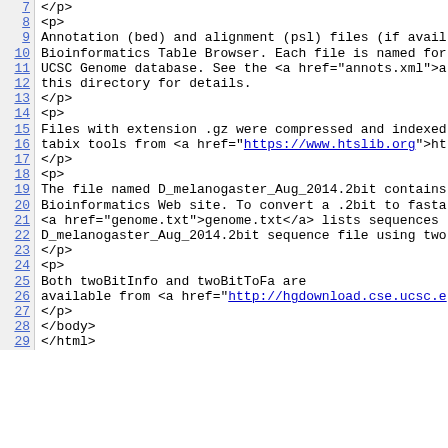Code/HTML source view showing lines 7-29 of an HTML README file describing UCSC Genome Bioinformatics annotation and alignment files, file compression with tabix, .2bit genome sequence files for D_melanogaster_Aug_2014, and twoBitInfo/twoBitToFa tools.